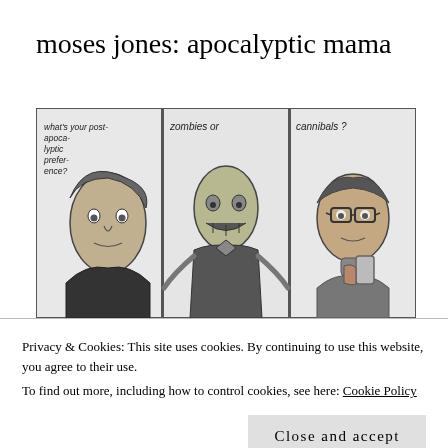moses jones: apocalyptic mama
[Figure (illustration): A three-panel hand-drawn comic strip. Panel 1: A woman's face with text 'what's your post-apoca-lyptic prefer-ence?' Panel 2: A zombie figure with text 'zombies or'. Panel 3: A person wearing glasses holding something with text 'cannibals?']
Privacy & Cookies: This site uses cookies. By continuing to use this website, you agree to their use.
To find out more, including how to control cookies, see here: Cookie Policy
Close and accept